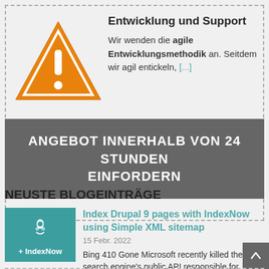[Figure (illustration): Orange warning triangle icon with exclamation mark and white diamond border]
Entwicklung und Support
Wir wenden die agile Entwicklungsmethodik an. Seitdem wir agil entickeln, [...]
ANGEBOT INNERHALB VON 24 STUNDEN EINFORDERN
NEUSTE BLOGEINTRÄGE
[Figure (logo): Drupal + IndexNow logo on teal background]
Index Drupal 9 pages with IndexNow using Simple XML sitemap
15 Febr. 2022
Bing 410 Gone Microsoft recently killed their search engine's public API responsible for accepting…